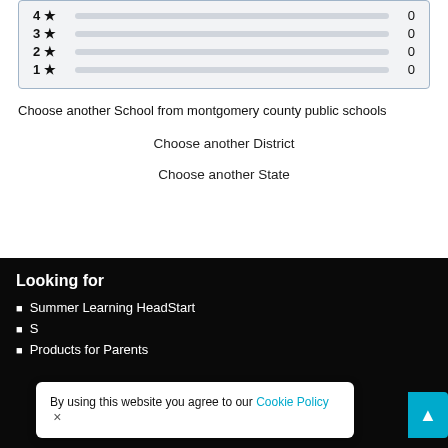[Figure (bar-chart): Star ratings]
Choose another School from montgomery county public schools
Choose another District
Choose another State
Looking for
Summer Learning HeadStart
S...
Products for Parents
By using this website you agree to our Cookie Policy ×